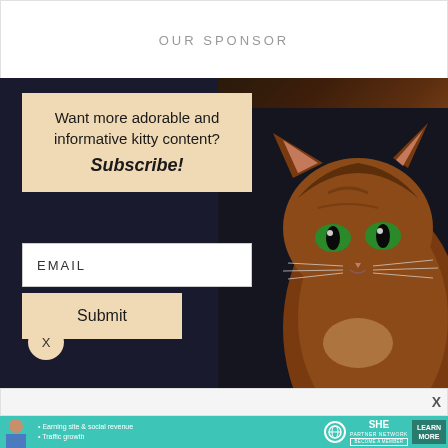OUR SPONSOR
[Figure (infographic): Dark background subscription popup with a cat (brown/tabby) peeking from the right side. Contains a beige box with text 'Want more adorable and informative kitty content? Subscribe!', an email input field, and a Submit button. An X close button is visible at bottom left.]
Want more adorable and informative kitty content? Subscribe!
EMAIL
Submit
X
X
[Figure (infographic): SHE Partner Network advertisement banner in teal/turquoise color. Shows a woman photo on left, bullet points 'Earning site & social revenue' and 'Traffic growth', SHE logo with globe icon, 'PARTNER NETWORK' and 'BECOME A MEMBER' text, and a 'LEARN MORE' button.]
• Earning site & social revenue
• Traffic growth
SHE PARTNER NETWORK BECOME A MEMBER
LEARN MORE